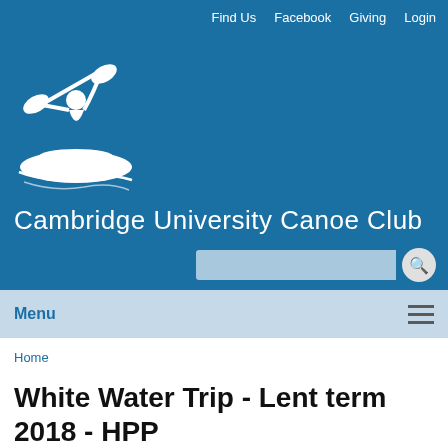Find Us  Facebook  Giving  Login
Cambridge University Canoe Club
Menu
Home
White Water Trip - Lent term 2018 - HPP